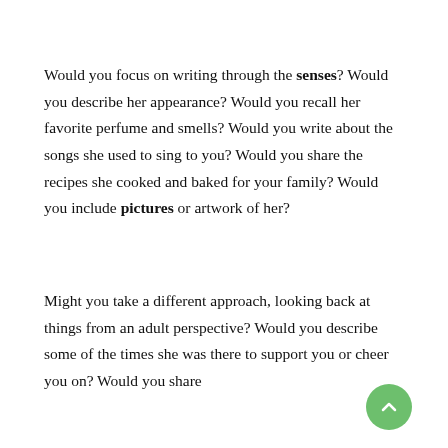Would you focus on writing through the senses? Would you describe her appearance? Would you recall her favorite perfume and smells? Would you write about the songs she used to sing to you? Would you share the recipes she cooked and baked for your family? Would you include pictures or artwork of her?
Might you take a different approach, looking back at things from an adult perspective? Would you describe some of the times she was there to support you or cheer you on? Would you share